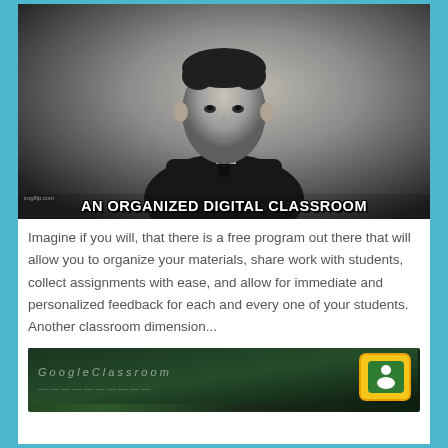[Figure (illustration): Black and white meme-style image of a man in a suit with top text 'IMAGINE IF YOU WILL' and bottom text 'AN ORGANIZED DIGITAL CLASSROOM']
Imagine if you will, that there is a free program out there that will allow you to organize your materials, share work with students, collect assignments with ease, and allow for immediate and personalized feedback for each and every one of your students.  Another classroom dimension...
[Figure (photo): Dark chalkboard image with partial text visible and a Google Classroom-style yellow and green icon in the lower right corner]